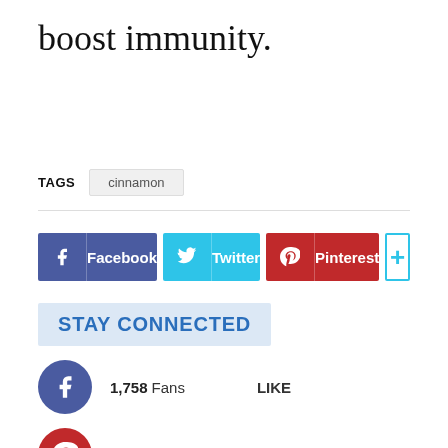boost immunity.
TAGS   cinnamon
[Figure (infographic): Social share buttons: Facebook, Twitter, Pinterest, and a plus button]
STAY CONNECTED
1,758 Fans LIKE
1,729 Followers FOLLOW